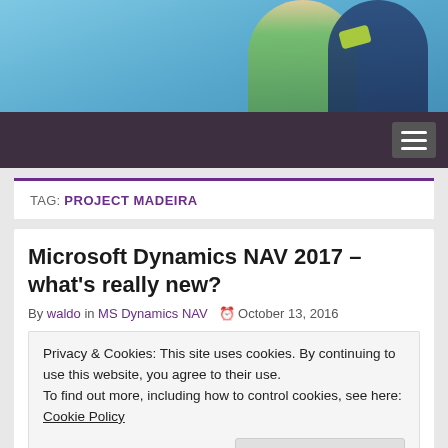[Figure (photo): Header photo showing children pointing against a blue sky background]
Navigation bar with hamburger menu
TAG: PROJECT MADEIRA
Microsoft Dynamics NAV 2017 – what's really new?
By waldo in MS Dynamics NAV  October 13, 2016
Privacy & Cookies: This site uses cookies. By continuing to use this website, you agree to their use.
To find out more, including how to control cookies, see here: Cookie Policy
Close and accept